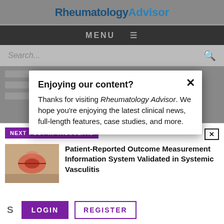Rheumatology Advisor
MENU
Search...
Enjoying our content?
Thanks for visiting Rheumatology Advisor. We hope you’re enjoying the latest clinical news, full-length features, case studies, and more.
NEXT POST IN VASCULITIS
Patient-Reported Outcome Measurement Information System Validated in Systemic Vasculitis
LOGIN
REGISTER